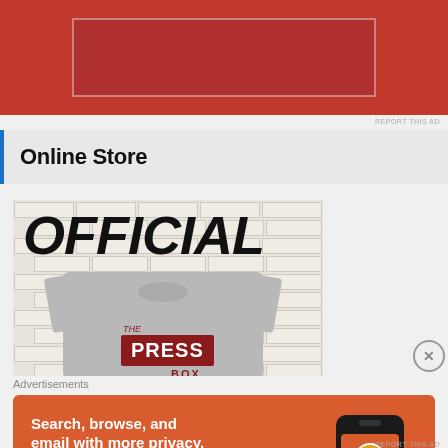[Figure (photo): Red advertisement banner at top of page]
Online Store
[Figure (photo): Gray t-shirt with 'OFFICIAL' text above and The Press Box logo on the shirt, displayed against a white brick wall background]
Advertisements
[Figure (photo): DuckDuckGo advertisement: 'Search, browse, and email with more privacy. All in One Free App' with phone graphic showing DuckDuckGo app]